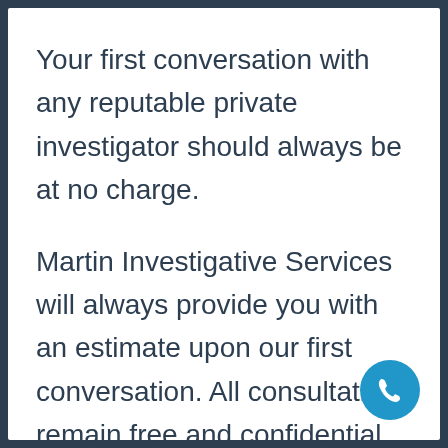Your first conversation with any reputable private investigator should always be at no charge.
Martin Investigative Services will always provide you with an estimate upon our first conversation. All consultations remain free and confidential.